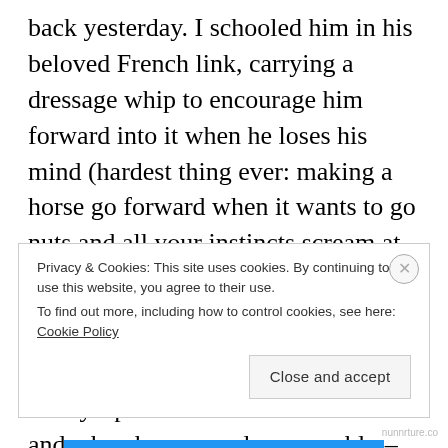back yesterday. I schooled him in his beloved French link, carrying a dressage whip to encourage him forward into it when he loses his mind (hardest thing ever: making a horse go forward when it wants to go nuts and all your instincts scream at you to stop). He was a little heavy in my hand at the canter, but no flailing, no throwing his head, nothing.
Today I put his Kimberwick back on and when he warmed up superbly – not a single head toss to be seen, at all three gaits – decided to try a bit of jumping. He
Privacy & Cookies: This site uses cookies. By continuing to use this website, you agree to their use.
To find out more, including how to control cookies, see here: Cookie Policy